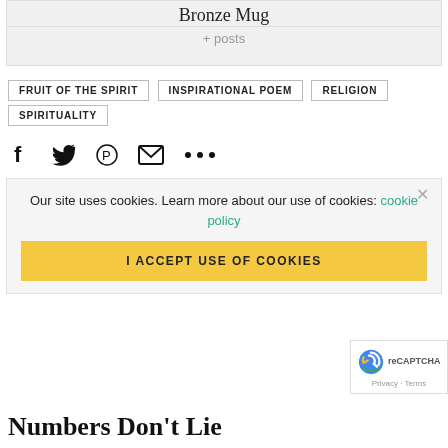Bronze Mug
+ posts
FRUIT OF THE SPIRIT
INSPIRATIONAL POEM
RELIGION
SPIRITUALITY
[Figure (other): Social share icons: Facebook, Twitter, Pinterest, Email, More (...)]
Our site uses cookies. Learn more about our use of cookies: cookie policy
I ACCEPT USE OF COOKIES
Numbers Don't Lie